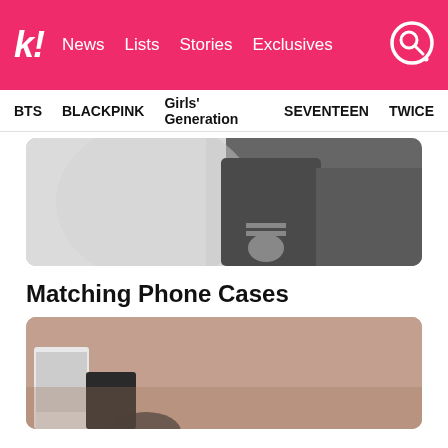k! News Lists Stories Exclusives
BTS BLACKPINK Girls' Generation SEVENTEEN TWICE
[Figure (photo): Black and white photo of a person in a dark jacket, partial view of torso and hands]
Matching Phone Cases
[Figure (photo): A photo with pinkish-beige background showing partial view of person and a white device/screen at bottom left]